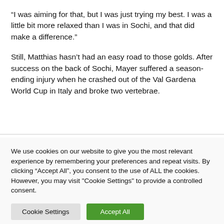“I was aiming for that, but I was just trying my best. I was a little bit more relaxed than I was in Sochi, and that did make a difference.”
Still, Matthias hasn’t had an easy road to those golds. After success on the back of Sochi, Mayer suffered a season-ending injury when he crashed out of the Val Gardena World Cup in Italy and broke two vertebrae.
We use cookies on our website to give you the most relevant experience by remembering your preferences and repeat visits. By clicking “Accept All”, you consent to the use of ALL the cookies. However, you may visit "Cookie Settings" to provide a controlled consent.
Cookie Settings | Accept All